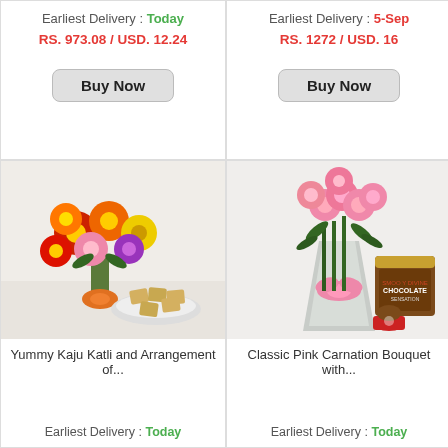Earliest Delivery : Today
RS. 973.08 / USD. 12.24
Buy Now
Earliest Delivery : 5-Sep
RS. 1272 / USD. 16
Buy Now
[Figure (photo): Colorful gerbera daisy bouquet with orange bow and kaju katli (cashew sweets) on a plate]
Yummy Kaju Katli and Arrangement of...
Earliest Delivery : Today
[Figure (photo): Pink carnation bouquet wrapped in silver with pink bow, beside chocolate ice cream tub and scoop]
Classic Pink Carnation Bouquet with...
Earliest Delivery : Today